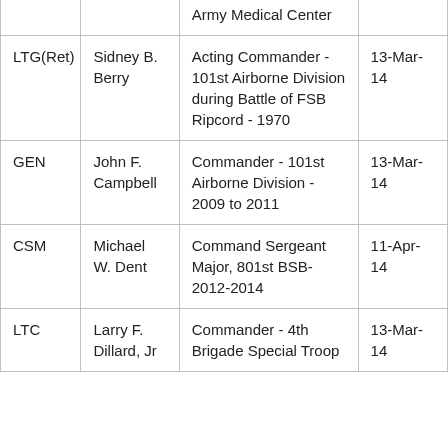| Rank | Name | Role | Date |
| --- | --- | --- | --- |
|  |  | Army Medical Center |  |
| LTG(Ret) | Sidney B. Berry | Acting Commander - 101st Airborne Division during Battle of FSB Ripcord - 1970 | 13-Mar-14 |
| GEN | John F. Campbell | Commander - 101st Airborne Division - 2009 to 2011 | 13-Mar-14 |
| CSM | Michael W. Dent | Command Sergeant Major, 801st BSB-2012-2014 | 11-Apr-14 |
| LTC | Larry F. Dillard, Jr | Commander - 4th Brigade Special Troop | 13-Mar-14 |